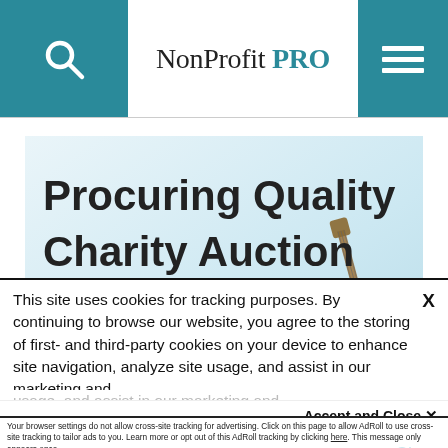NonProfit PRO
[Figure (illustration): Article banner image with bold text 'Procuring Quality Charity Auction Items' on a light blue/grey background with a guitar visible in the lower right]
This site uses cookies for tracking purposes. By continuing to browse our website, you agree to the storing of first- and third-party cookies on your device to enhance site navigation, analyze site usage, and assist in our marketing and
Accept and Close ✕
Your browser settings do not allow cross-site tracking for advertising. Click on this page to allow AdRoll to use cross-site tracking to tailor ads to you. Learn more or opt out of this AdRoll tracking by clicking here. This message only appears once.